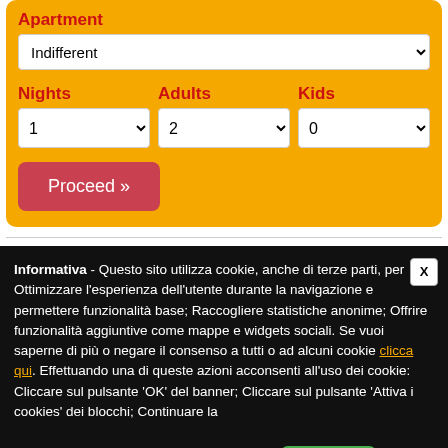Apartment
Indifferent (dropdown)
Nights  Adults  Kids
1 (dropdown)  2 (dropdown)  0 (dropdown)
Proceed »
Informativa - Questo sito utilizza cookie, anche di terze parti, per Ottimizzare l'esperienza dell'utente durante la navigazione e permettere funzionalità base; Raccogliere statistiche anonime; Offrire funzionalità aggiuntive come mappe e widgets sociali. Se vuoi saperne di più o negare il consenso a tutti o ad alcuni cookie clicca qui. Effettuando una di queste azioni acconsenti all'uso dei cookie: Cliccare sul pulsante 'OK' del banner; Cliccare sul pulsante 'Attiva i cookies' dei blocchi; Continuare la navigazione del sito; Chiudendo il banner.
OK